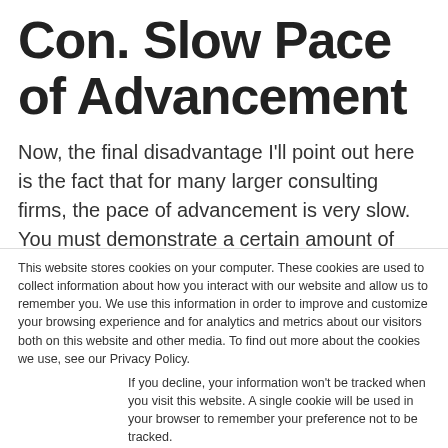Con. Slow Pace of Advancement
Now, the final disadvantage I'll point out here is the fact that for many larger consulting firms, the pace of advancement is very slow. You must demonstrate a certain amount of tenure before you can move up
This website stores cookies on your computer. These cookies are used to collect information about how you interact with our website and allow us to remember you. We use this information in order to improve and customize your browsing experience and for analytics and metrics about our visitors both on this website and other media. To find out more about the cookies we use, see our Privacy Policy.
If you decline, your information won't be tracked when you visit this website. A single cookie will be used in your browser to remember your preference not to be tracked.